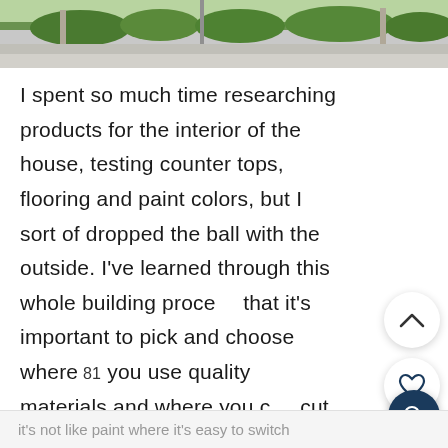[Figure (photo): Outdoor photo showing a house exterior with landscaping, green shrubs and a driveway visible at the top of the page.]
I spent so much time researching products for the interior of the house, testing counter tops, flooring and paint colors, but I sort of dropped the ball with the outside. I’ve learned through this whole building process that it’s important to pick and choose where you use quality materials and where you can cut corners. Let me tell you, the siding on your house is not the place to skimp because
it’s not like paint where it’s easy to switch